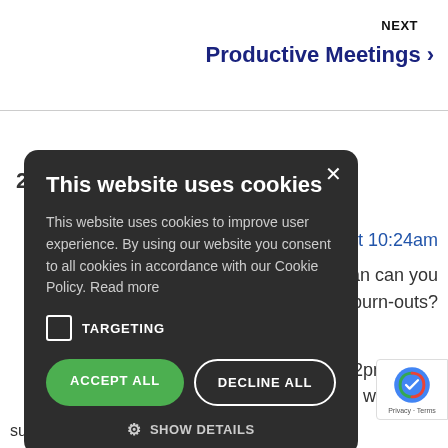NEXT
Productive Meetings >
[Figure (screenshot): Cookie consent modal dialog on a dark background overlay with title 'This website uses cookies', body text, targeting checkbox, Accept All and Decline All buttons, and Show Details option]
This website uses cookies
This website uses cookies to improve user experience. By using our website you consent to all cookies in accordance with our Cookie Policy. Read more
TARGETING
ACCEPT ALL
DECLINE ALL
SHOW DETAILS